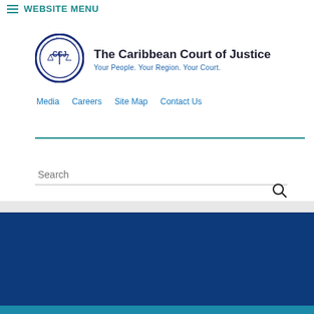WEBSITE MENU
[Figure (logo): The Caribbean Court of Justice circular logo with scales of justice, navy blue border with text around the circumference]
The Caribbean Court of Justice
Your People. Your Region. Your Court.
Media   Careers   Site Map   Contact Us
Search
CCJ Statement on the passing of Mr. Arthur N. R. Robinson